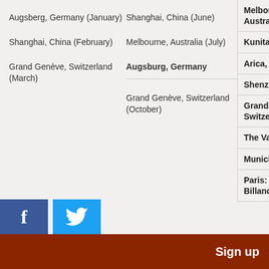Augsberg, Germany (January)
Shanghai, China (February)
Grand Genève, Switzerland (March)
Shanghai, China (June)
Melbourne, Australia (July)
Augsburg, Germany
Grand Genève, Switzerland (October)
Melbourne, Australia
Kunitachi, Tokyo
Arica, Chile
Shenzhen, China
Grand Genève, Switzerland
The Valleys, Wales
Munich, Germany
Paris: Boulogne-Billancourt
Sign up